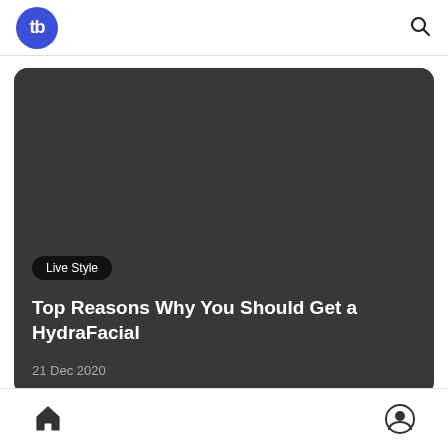tb
[Figure (screenshot): Dark grey card with a Live Style badge, article title, and date on a dark background]
Top Reasons Why You Should Get a HydraFacial
21 Dec 2020
Home and Profile icons